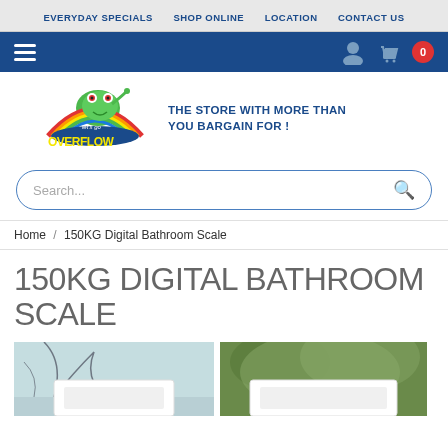EVERYDAY SPECIALS  SHOP ONLINE  LOCATION  CONTACT US
[Figure (logo): Let's go Overflow frog logo with rainbow and tagline: THE STORE WITH MORE THAN YOU BARGAIN FOR!]
Search...
Home / 150KG Digital Bathroom Scale
150KG DIGITAL BATHROOM SCALE
[Figure (photo): Two product photos of a digital bathroom scale side by side, partially visible at the bottom of the page]